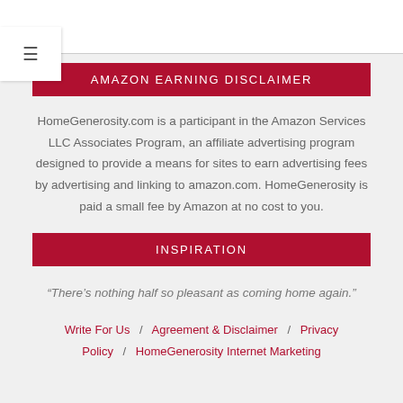AMAZON EARNING DISCLAIMER
HomeGenerosity.com is a participant in the Amazon Services LLC Associates Program, an affiliate advertising program designed to provide a means for sites to earn advertising fees by advertising and linking to amazon.com. HomeGenerosity is paid a small fee by Amazon at no cost to you.
INSPIRATION
“There’s nothing half so pleasant as coming home again.”
Write For Us / Agreement & Disclaimer / Privacy Policy / HomeGenerosity Internet Marketing